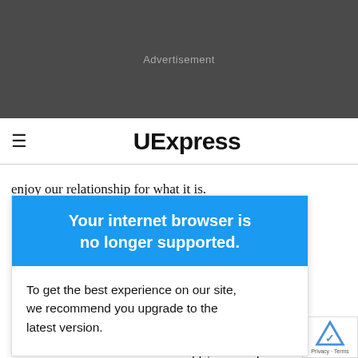[Figure (other): Advertisement banner area — dark grey background with centered 'Advertisement' label]
≡  UExpress
enjoy our relationship for what it is.
Abby, what's your take on this? -- SMITTEN IN
[Figure (screenshot): Browser upgrade warning overlay with blue header reading 'Your internet browser is no longer supported.' and body text 'To get the best experience on our site, we recommend you upgrade to the latest version.']
commitment is
s relationship
k they dc
deserve better remain in the unhappy 'status quo.'